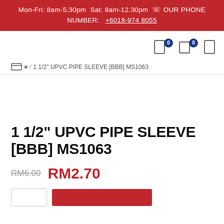Mon-Fri: 8am-5.30pm Sat: 8am-12.30pm 🕿 OUR PHONE NUMBER: +6018-974 8055
🏠 / 11/2" UPVC PIPE SLEEVE [BBB] MS1063
1 1/2" UPVC PIPE SLEEVE [BBB] MS1063
RM6.00  RM2.70